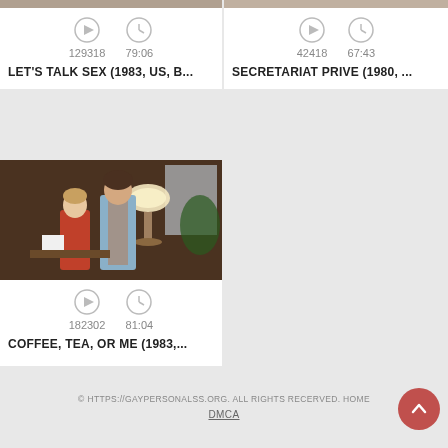[Figure (screenshot): Video card top strip (partial, cropped at top)]
129318   79:06
LET'S TALK SEX (1983, US, B...
[Figure (screenshot): Video card top strip for SECRETARIAT PRIVE (partial, cropped at top)]
42418   67:43
SECRETARIAT PRIVE (1980, ...
[Figure (photo): Movie still from COFFEE, TEA, OR ME (1983) showing two people in an indoor scene with a lamp]
182302   81:04
COFFEE, TEA, OR ME (1983,...
© HTTPS://GAYPERSONALSS.ORG. ALL RIGHTS RECERVED. HOME
DMCA